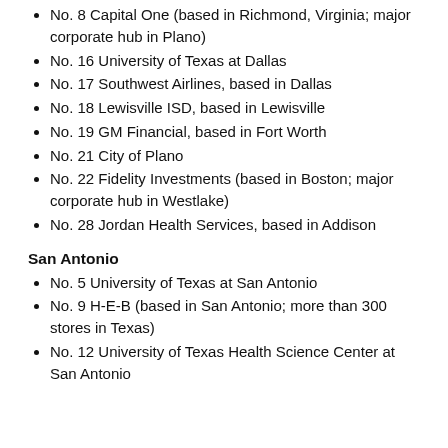No. 8 Capital One (based in Richmond, Virginia; major corporate hub in Plano)
No. 16 University of Texas at Dallas
No. 17 Southwest Airlines, based in Dallas
No. 18 Lewisville ISD, based in Lewisville
No. 19 GM Financial, based in Fort Worth
No. 21 City of Plano
No. 22 Fidelity Investments (based in Boston; major corporate hub in Westlake)
No. 28 Jordan Health Services, based in Addison
San Antonio
No. 5 University of Texas at San Antonio
No. 9 H-E-B (based in San Antonio; more than 300 stores in Texas)
No. 12 University of Texas Health Science Center at San Antonio